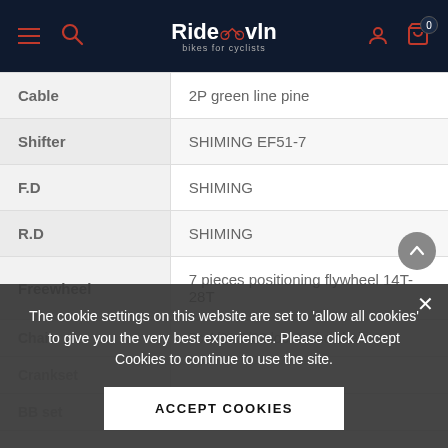Ridecvln - bikes for cyclists navigation bar
| Attribute | Value |
| --- | --- |
| Cable | 2P green line pine |
| Shifter | SHIMING EF51-7 |
| F.D | SHIMING |
| R.D | SHIMING |
| Freewheel | 7 pieces positioning flywheel 14T-28T |
| Chain | 7S-1/2"x3/32 locate the chain |
| Crankset |  |
| BB set | Seal axial |
The cookie settings on this website are set to 'allow all cookies' to give you the very best experience. Please click Accept Cookies to continue to use the site.
ACCEPT COOKIES